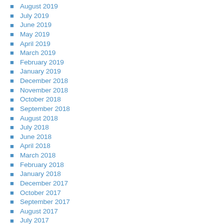August 2019
July 2019
June 2019
May 2019
April 2019
March 2019
February 2019
January 2019
December 2018
November 2018
October 2018
September 2018
August 2018
July 2018
June 2018
April 2018
March 2018
February 2018
January 2018
December 2017
October 2017
September 2017
August 2017
July 2017
June 2017